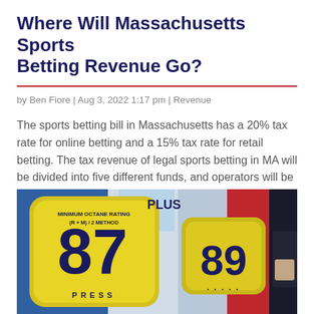Where Will Massachusetts Sports Betting Revenue Go?
by Ben Fiore | Aug 3, 2022 1:17 pm | Revenue
The sports betting bill in Massachusetts has a 20% tax rate for online betting and a 15% tax rate for retail betting. The tax revenue of legal sports betting in MA will be divided into five different funds, and operators will be charged a $100,000 application fee....
[Figure (photo): Close-up photo of a gas station pump display showing octane rating buttons: yellow button labeled 87 (MINIMUM OCTANE RATING (R+M)/2 METHOD) with PRESS text, and another yellow button labeled 89, with red and blue pump panels visible in the background]